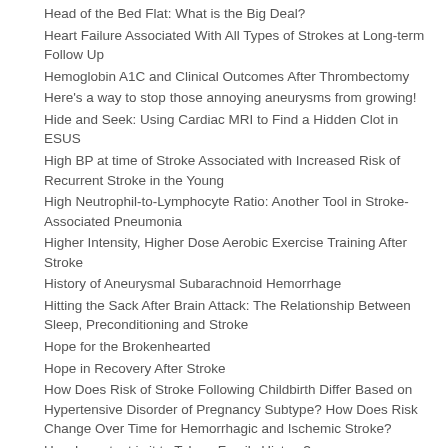Head of the Bed Flat: What is the Big Deal?
Heart Failure Associated With All Types of Strokes at Long-term Follow Up
Hemoglobin A1C and Clinical Outcomes After Thrombectomy
Here's a way to stop those annoying aneurysms from growing!
Hide and Seek: Using Cardiac MRI to Find a Hidden Clot in ESUS
High BP at time of Stroke Associated with Increased Risk of Recurrent Stroke in the Young
High Neutrophil-to-Lymphocyte Ratio: Another Tool in Stroke-Associated Pneumonia
Higher Intensity, Higher Dose Aerobic Exercise Training After Stroke
History of Aneurysmal Subarachnoid Hemorrhage
Hitting the Sack After Brain Attack: The Relationship Between Sleep, Preconditioning and Stroke
Hope for the Brokenhearted
Hope in Recovery After Stroke
How Does Risk of Stroke Following Childbirth Differ Based on Hypertensive Disorder of Pregnancy Subtype? How Does Risk Change Over Time for Hemorrhagic and Ischemic Stroke?
How Important is it to Take a Family History?
How Long Should We Give Dual Antiplatelet Therapy After Minor Acute Ischemic Stroke?
How Old is Too Old for a Statin?
How Should We Best Treat M2 Occlusions?